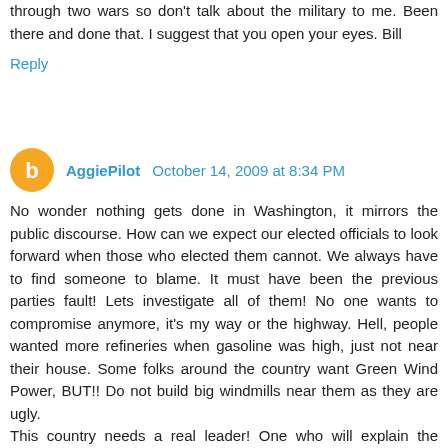through two wars so don't talk about the military to me. Been there and done that. I suggest that you open your eyes. Bill
Reply
AggiePilot  October 14, 2009 at 8:34 PM
No wonder nothing gets done in Washington, it mirrors the public discourse. How can we expect our elected officials to look forward when those who elected them cannot. We always have to find someone to blame. It must have been the previous parties fault! Lets investigate all of them! No one wants to compromise anymore, it's my way or the highway. Hell, people wanted more refineries when gasoline was high, just not near their house. Some folks around the country want Green Wind Power, BUT!! Do not build big windmills near them as they are ugly.
This country needs a real leader! One who will explain the problems, suggest fixes and then take it to the people. Kind of like Ronald Reagan, JFK or Harry Truman. It is time for some civility in politics in this country and one way to start